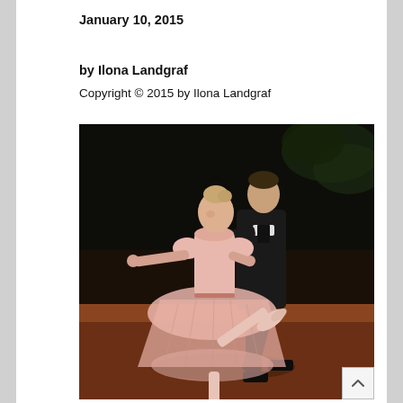January 10, 2015
by Ilona Landgraf
Copyright © 2015 by Ilona Landgraf
[Figure (photo): Two ballet dancers performing on stage. A ballerina in a light pink pleated dress and pointe shoes extends her leg while her male partner in a dark suit supports her from behind. The stage background is dark with some green foliage visible.]